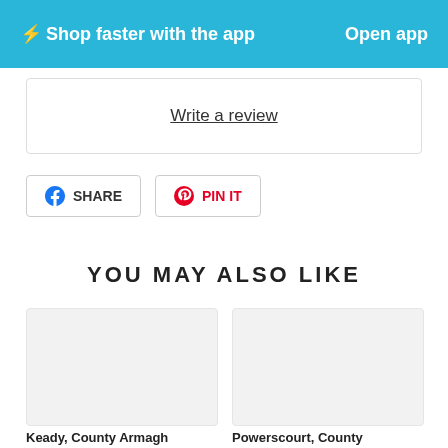⚡ Shop faster with the app   Open app
Write a review
SHARE   PIN IT
YOU MAY ALSO LIKE
[Figure (photo): Product image placeholder left]
[Figure (photo): Product image placeholder right]
Keady, County Armagh
Powerscourt, County